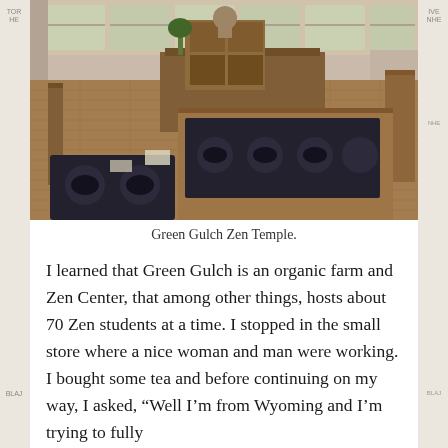[Figure (photo): Interior of Green Gulch Zen Temple showing a large wooden-floored meditation hall with dark zafu cushions and mats arranged in rows, a wooden altar with a Buddha statue in the background, large windows providing natural light]
Green Gulch Zen Temple.
I learned that Green Gulch is an organic farm and Zen Center, that among other things, hosts about 70 Zen students at a time. I stopped in the small store where a nice woman and man were working. I bought some tea and before continuing on my way, I asked, “Well I’m from Wyoming and I’m trying to fully